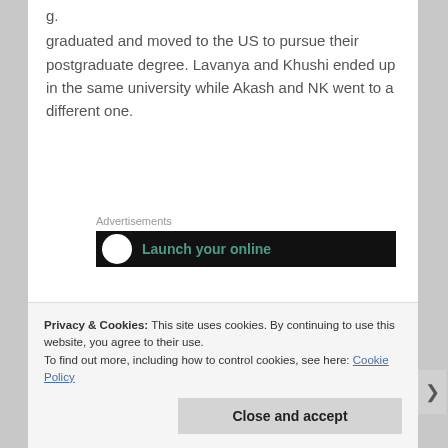graduated and moved to the US to pursue their postgraduate degree. Lavanya and Khushi ended up in the same university while Akash and NK went to a different one.
[Figure (other): Advertisements banner with dark background showing 'Launch your online' text and circular logo]
Privacy & Cookies: This site uses cookies. By continuing to use this website, you agree to their use.
To find out more, including how to control cookies, see here: Cookie Policy
Close and accept